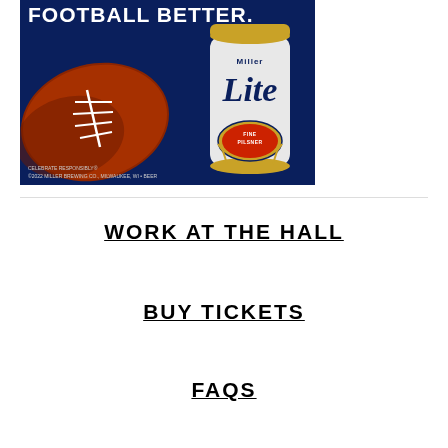[Figure (photo): Miller Lite beer advertisement showing a football and a Miller Lite can on a dark navy blue background with text 'FOOTBALL BETTER.' at the top. Small text reads 'CELEBRATE RESPONSIBLY® ©2022 MILLER BREWING CO., MILWAUKEE, WI • BEER']
WORK AT THE HALL
BUY TICKETS
FAQS